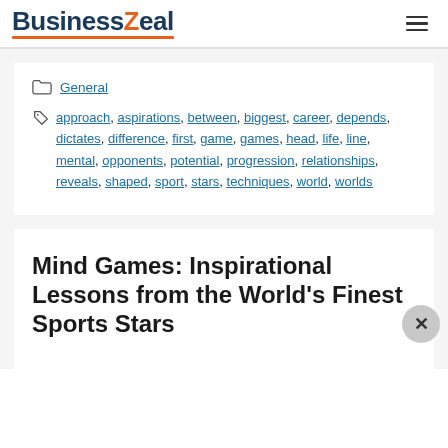BusinessZeal
General
approach, aspirations, between, biggest, career, depends, dictates, difference, first, game, games, head, life, line, mental, opponents, potential, progression, relationships, reveals, shaped, sport, stars, techniques, world, worlds
Mind Games: Inspirational Lessons from the World’s Finest Sports Stars